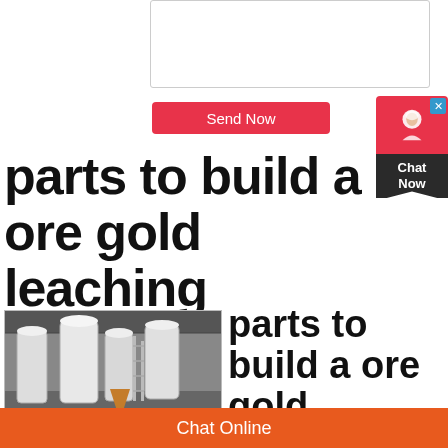[Figure (screenshot): Textarea input box for user message]
[Figure (screenshot): Send Now button in red/pink color]
[Figure (screenshot): Chat Now widget on the right side with red top and dark bottom]
parts to build a ore gold leaching machine
[Figure (photo): Industrial milling/leaching machine equipment in a factory setting, white cylindrical structures with metal framework]
parts to build a ore gold leaching
Chat Online